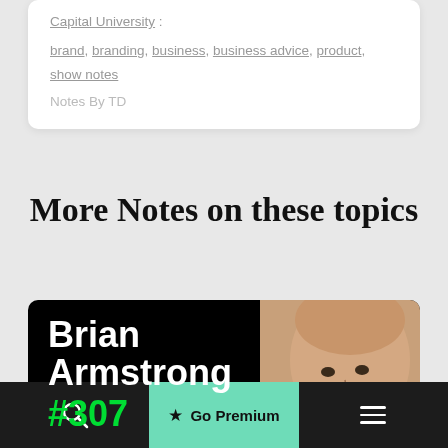Capital University :
brand, branding, business, business advice, product, show notes
Notes By TD
More Notes on these topics
[Figure (photo): Brian Armstrong #307 podcast thumbnail with name in white bold text, episode number in green, on black background with photo of a bald man on the right side]
★ Go Premium